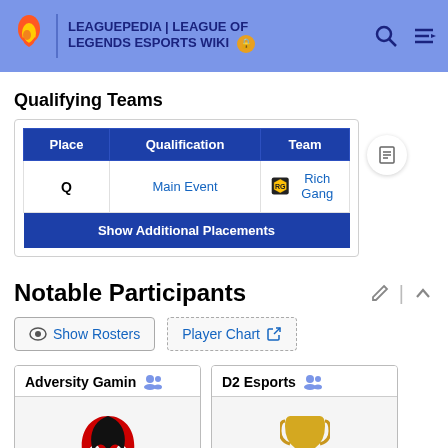LEAGUEPEDIA | LEAGUE OF LEGENDS ESPORTS WIKI
Qualifying Teams
| Place | Qualification | Team |
| --- | --- | --- |
| Q | Main Event | Rich Gang |
| Show Additional Placements |  |  |
Notable Participants
Show Rosters | Player Chart
Adversity Gaming
D2 Esports